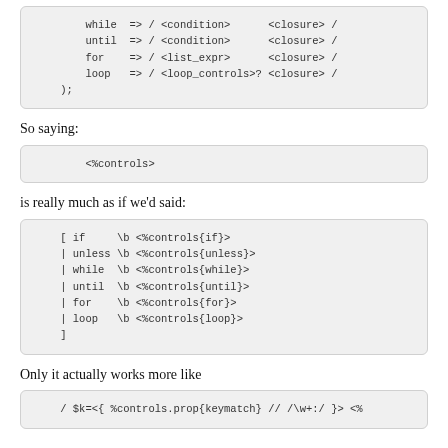So saying:
is really much as if we'd said:
Only it actually works more like